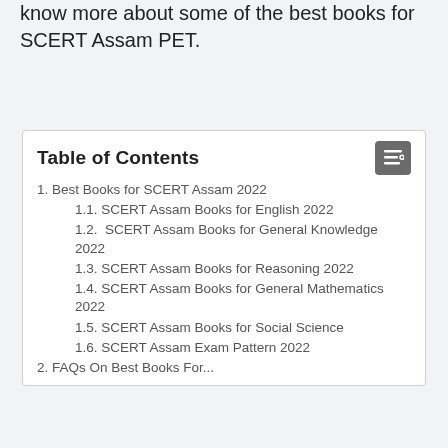know more about some of the best books for SCERT Assam PET.
Table of Contents
1. Best Books for SCERT Assam 2022
1.1. SCERT Assam Books for English 2022
1.2.  SCERT Assam Books for General Knowledge 2022
1.3. SCERT Assam Books for Reasoning 2022
1.4. SCERT Assam Books for General Mathematics 2022
1.5. SCERT Assam Books for Social Science
1.6. SCERT Assam Exam Pattern 2022
2. FAQs On Best Books For...